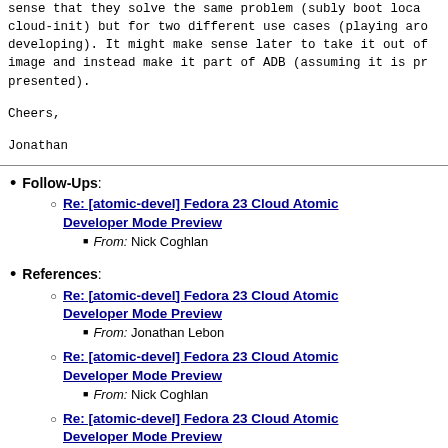sense that they solve the same problem (subly boot loca cloud-init) but for two different use cases (playing aro developing). It might make sense later to take it out of image and instead make it part of ADB (assuming it is pr presented).
Cheers,
Jonathan
Follow-Ups: Re: [atomic-devel] Fedora 23 Cloud Atomic Developer Mode Preview - From: Nick Coghlan
References: Re: [atomic-devel] Fedora 23 Cloud Atomic Developer Mode Preview - From: Jonathan Lebon
Re: [atomic-devel] Fedora 23 Cloud Atomic Developer Mode Preview - From: Nick Coghlan
Re: [atomic-devel] Fedora 23 Cloud Atomic Developer Mode Preview - From: Jonathan Lebon
Re: [atomic-devel] Fedora 23 Cloud Atomic